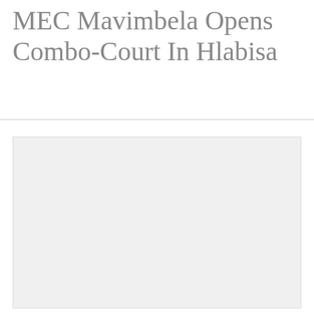MEC Mavimbela Opens Combo-Court In Hlabisa
[Figure (photo): A large blank/empty image placeholder below the title, showing a light gray rectangle representing a photograph related to the article about MEC Mavimbela opening a Combo-Court in Hlabisa.]